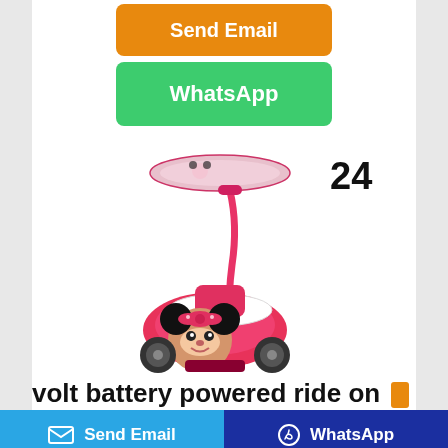[Figure (other): Orange 'Send Email' button at top center]
[Figure (other): Green 'WhatsApp' button below Send Email button]
24
[Figure (photo): Pink Minnie Mouse battery powered ride-on toy with canopy/sunshade and push handle]
volt battery powered ride on
[Figure (other): Bottom bar: blue Send Email button on left, dark blue WhatsApp button on right]